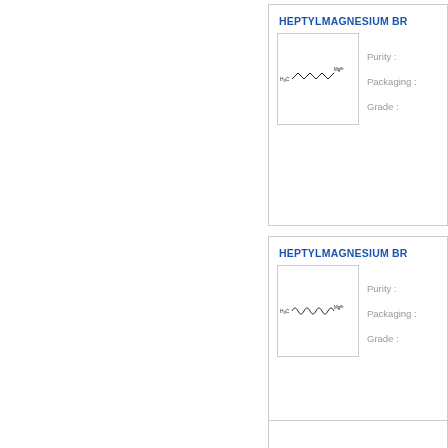HEPTYLMAGNESIUM BR...
[Figure (illustration): Chemical structure of heptylmagnesium bromide showing zigzag carbon chain H3C-(CH2)6-MgBr]
Purity :
Packaging :
Grade :
HEPTYLMAGNESIUM BR...
[Figure (illustration): Chemical structure of heptylmagnesium bromide showing wavy/curved carbon chain H3C-(CH2)6-MgBr]
Purity :
Packaging :
Grade :